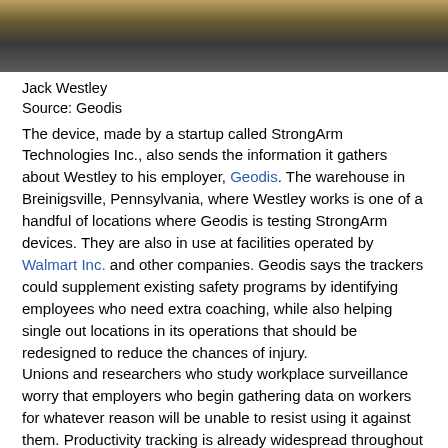[Figure (photo): Partial photo of a person wearing an orange/yellow safety vest, cropped at torso, in a warehouse setting]
Jack Westley
Source: Geodis
The device, made by a startup called StrongArm Technologies Inc., also sends the information it gathers about Westley to his employer, Geodis. The warehouse in Breinigsville, Pennsylvania, where Westley works is one of a handful of locations where Geodis is testing StrongArm devices. They are also in use at facilities operated by Walmart Inc. and other companies. Geodis says the trackers could supplement existing safety programs by identifying employees who need extra coaching, while also helping single out locations in its operations that should be redesigned to reduce the chances of injury.
Unions and researchers who study workplace surveillance worry that employers who begin gathering data on workers for whatever reason will be unable to resist using it against them. Productivity tracking is already widespread throughout the industry—and workers can be fired or punished if their performance dips. The opacity of data-analysis tools can make it difficult for workers to fully understand how much employers can see.
StrongArm says it has about 30 clients, including Heineken NV and Toyota Motor Corp., and is also establishing relationships with insurance companies interested in ways to reduce workers compensation costs. Walmart says it's testing StrongArm in eight distribution centers and adds it has no plans to use them in